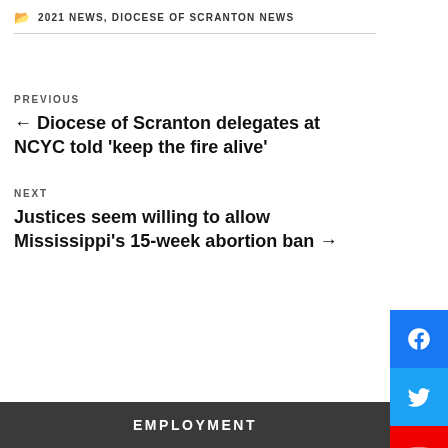2021 NEWS, DIOCESE OF SCRANTON NEWS
PREVIOUS
← Diocese of Scranton delegates at NCYC told 'keep the fire alive'
NEXT
Justices seem willing to allow Mississippi's 15-week abortion ban →
EMPLOYMENT